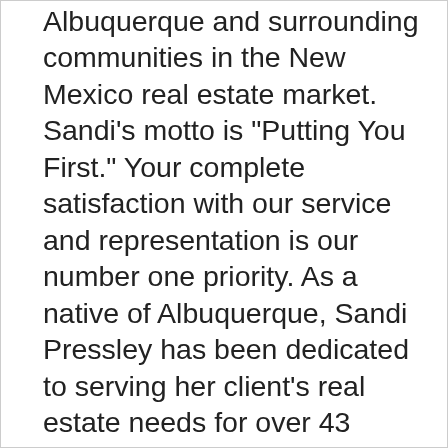Albuquerque and surrounding communities in the New Mexico real estate market. Sandi's motto is "Putting You First." Your complete satisfaction with our service and representation is our number one priority. As a native of Albuquerque, Sandi Pressley has been dedicated to serving her client's real estate needs for over 43 years. Sandi has achieved a goal unprecedented by any other Realtor of being the #1 Top Producing Realtor for 36 consecutive years in all of Albuquerque as well as the entire state of New Mexico. She is also the #1 Top Producing Realtor for the entire Western Region and 8th in the Nation with Coldwell Banker National. Sandi Pressley serves the entire Albuquerque New Mexico real estate market including the surrounding communities such as Rio Rancho, Placitas, Corrales, Bernalillo, Northeast Heights, North Albuquerque Acres, Sandia Heights, High Desert, Foothills, Four Hills, UNM, Nob Hill, Ridgecrest area, Uptown area, North Valley,